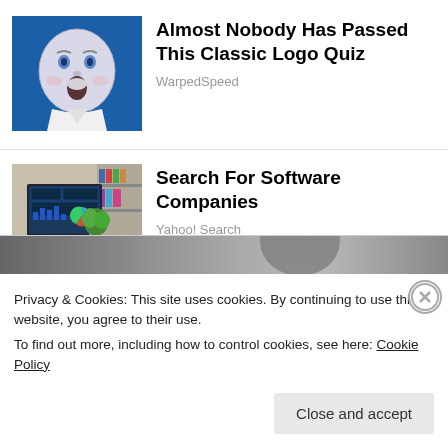[Figure (photo): Blue background with a sketch illustration of a surprised baby face]
Almost Nobody Has Passed This Classic Logo Quiz
WarpedSpeed
[Figure (photo): Photo of a desktop computer with dashboard software on screen, person typing, plant in background]
Search For Software Companies
Yahoo! Search
Privacy & Cookies: This site uses cookies. By continuing to use this website, you agree to their use.
To find out more, including how to control cookies, see here: Cookie Policy